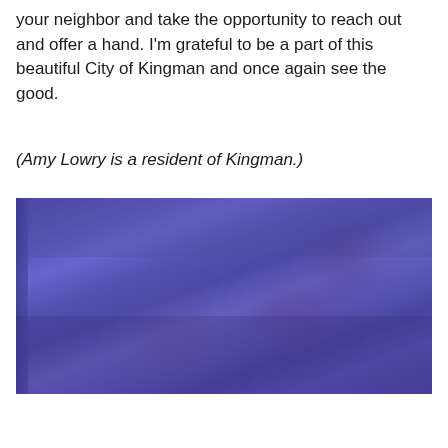your neighbor and take the opportunity to reach out and offer a hand. I'm grateful to be a part of this beautiful City of Kingman and once again see the good.
(Amy Lowry is a resident of Kingman.)
[Figure (photo): A blurry photograph with predominantly blue and purple tones, showing an outdoor scene in low light or dusk conditions. The image is highly blurred making details difficult to discern.]